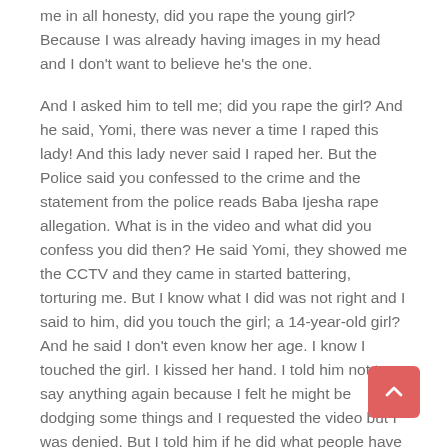me in all honesty, did you rape the young girl? Because I was already having images in my head and I don't want to believe he's the one.

And I asked him to tell me; did you rape the girl? And he said, Yomi, there was never a time I raped this lady! And this lady never said I raped her. But the Police said you confessed to the crime and the statement from the police reads Baba Ijesha rape allegation. What is in the video and what did you confess you did then? He said Yomi, they showed me the CCTV and they came in started battering, torturing me. But I know what I did was not right and I said to him, did you touch the girl; a 14-year-old girl? And he said I don't even know her age. I know I touched the girl. I kissed her hand. I told him not to say anything again because I felt he might be dodging some things and I requested the video but I was denied. But I told him if he did what people have been saying, I would be so disappointed in him. And he told me he needed a lawyer and I also asked if anybody has visited him from the industry. He told him only one person came and she came on the instruction of the TAMPAN President to ask for the situation of things. After then I gave